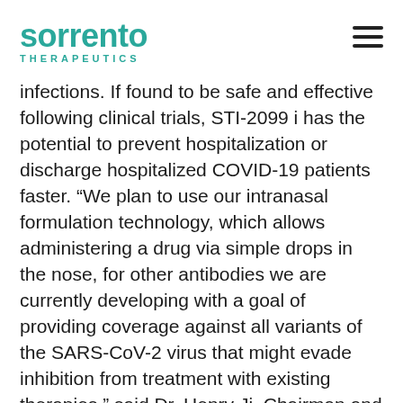Sorrento Therapeutics
infections. If found to be safe and effective following clinical trials, STI-2099 i has the potential to prevent hospitalization or discharge hospitalized COVID-19 patients faster. “We plan to use our intranasal formulation technology, which allows administering a drug via simple drops in the nose, for other antibodies we are currently developing with a goal of providing coverage against all variants of the SARS-CoV-2 virus that might evade inhibition from treatment with existing therapies,” said Dr. Henry Ji, Chairman and CEO of Sorrento.